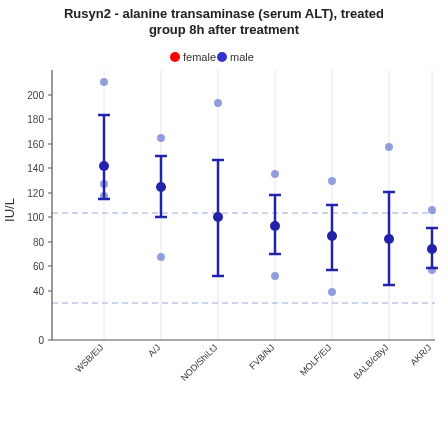[Figure (scatter-plot): Rusyn2 - alanine transaminase (serum ALT), treated group 8h after treatment]